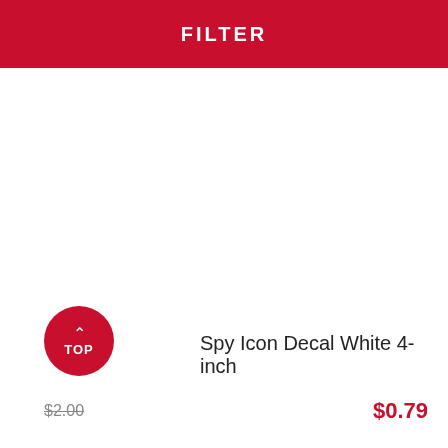FILTER
[Figure (other): Red circular TOP button with upward arrow and TOP label]
$2.00
Spy Icon Decal White 4-inch
$0.79